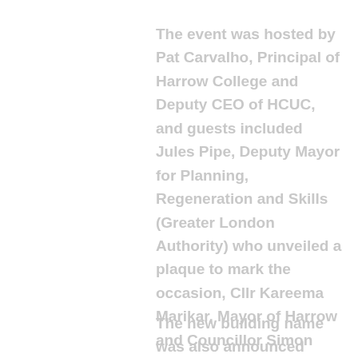The event was hosted by Pat Carvalho, Principal of Harrow College and Deputy CEO of HCUC, and guests included Jules Pipe, Deputy Mayor for Planning, Regeneration and Skills (Greater London Authority) who unveiled a plaque to mark the occasion, Cllr Kareema Marikar, Mayor of Harrow and Councillor Simon Brown, Harrow Borough Council. Also attending were College governors, local care providers and businesses, local NHS professionals and College health & social care teaching staff.
The new building name was also announced during the event as 'The Seacole Building for Health & Social Care', in memory of the admired role model Mary Seacole, best